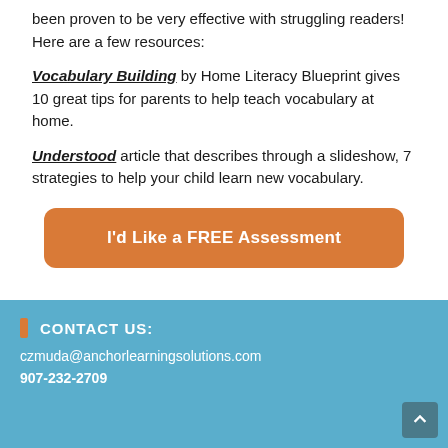been proven to be very effective with struggling readers! Here are a few resources:
Vocabulary Building by Home Literacy Blueprint gives 10 great tips for parents to help teach vocabulary at home.
Understood article that describes through a slideshow, 7 strategies to help your child learn new vocabulary.
I'd Like a FREE Assessment
CONTACT US:
czmuda@anchorlearningsolutions.com
907-232-2709